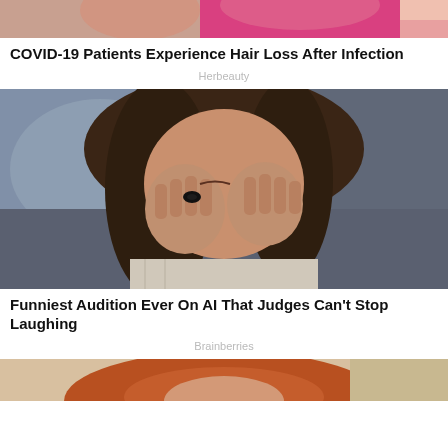[Figure (photo): Partial image of women, top of page, cropped showing upper portion only, pink clothing visible]
COVID-19 Patients Experience Hair Loss After Infection
Herbeauty
[Figure (photo): A woman with brown hair covering her face with both hands, laughing or hiding her face, wearing rings, in an indoor setting]
Funniest Audition Ever On AI That Judges Can't Stop Laughing
Brainberries
[Figure (photo): Partial image of a red-haired person, bottom of page, cropped]